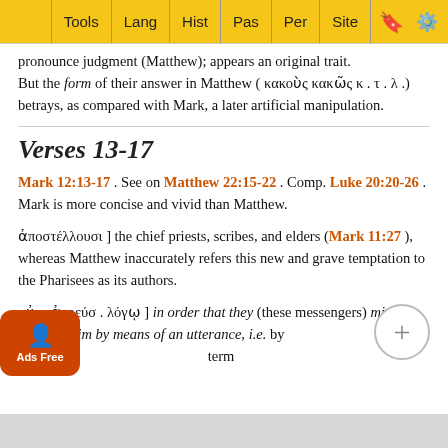Tools | Lang | Hist | Pas | Per | Site
pronounce judgment (Matthew); appears an original trait. But the form of their answer in Matthew ( κακοὺς κακῶς κ . τ . λ .) betrays, as compared with Mark, a later artificial manipulation.
Verses 13-17
Mark 12:13-17 . See on Matthew 22:15-22 . Comp. Luke 20:20-26 . Mark is more concise and vivid than Matthew.
ἀποστέλλουσι ] the chief priests, scribes, and elders ( Mark 11:27 ), whereas Matthew inaccurately refers this new and grave temptation to the Pharisees as its authors.
αὐτ . ἀγρεύσ . λόγῳ ] in order that they (these messengers) might ensnare Him by means of an utterance, i.e. by … to Him. S … term